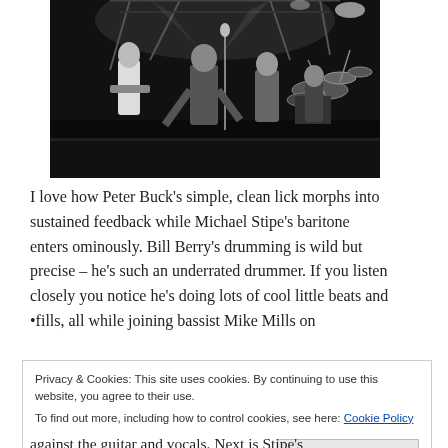[Figure (photo): Black and white photo of a band performing on stage. Multiple musicians visible including guitarists and a drummer with a drum kit. Stage lighting visible.]
I love how Peter Buck's simple, clean lick morphs into sustained feedback while Michael Stipe's baritone enters ominously. Bill Berry's drumming is wild but precise – he's such an underrated drummer. If you listen closely you notice he's doing lots of cool little beats and •fills, all while joining bassist Mike Mills on
Privacy & Cookies: This site uses cookies. By continuing to use this website, you agree to their use.
To find out more, including how to control cookies, see here: Cookie Policy
Close and accept
against the guitar and vocals. Next is Stipe's